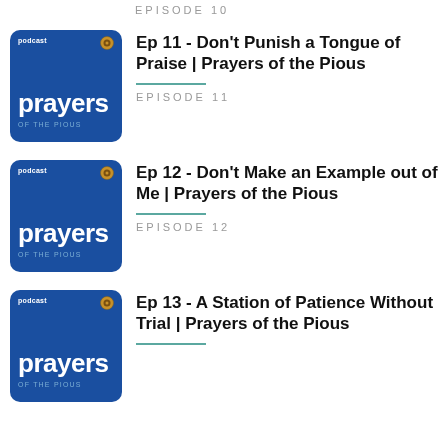EPISODE 10
[Figure (illustration): Podcast thumbnail for 'Prayers of the Pious' - blue square with white text]
Ep 11 - Don't Punish a Tongue of Praise | Prayers of the Pious
EPISODE 11
[Figure (illustration): Podcast thumbnail for 'Prayers of the Pious' - blue square with white text]
Ep 12 - Don't Make an Example out of Me | Prayers of the Pious
EPISODE 12
[Figure (illustration): Podcast thumbnail for 'Prayers of the Pious' - blue square with white text]
Ep 13 - A Station of Patience Without Trial | Prayers of the Pious